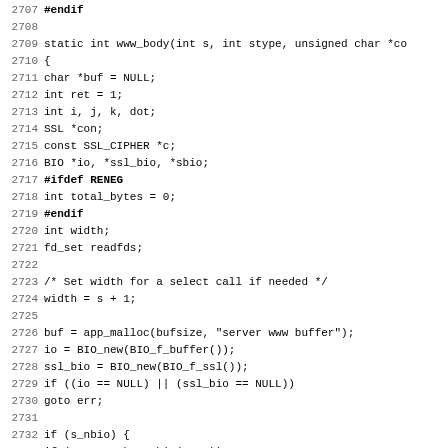Code listing lines 2707-2739, C source code for www_body function